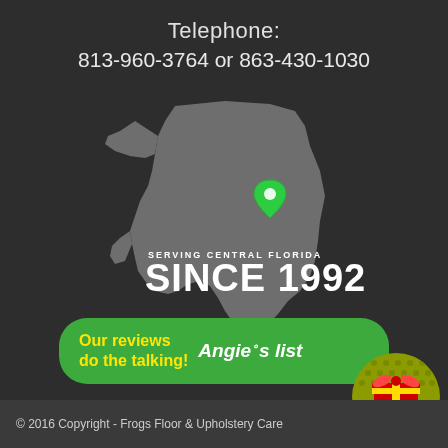Telephone:
813-960-3764 or 863-430-1030
[Figure (map): Silhouette map of Florida state in grey on dark background with a green location pin marker in central Florida area. Text overlay reads 'SERVING CENTRAL FLORIDA SINCE 1992'.]
[Figure (infographic): Green rounded rectangle banner with yellow text 'Our reviews do the talking!' and white Angie's list logo]
[Figure (infographic): Circular mystery gift badge with gift box graphic and text 'MYSTERY GIFT!' on olive/yellow dotted background]
© 2016 Copyright - Frogs Floor & Upholstery Care